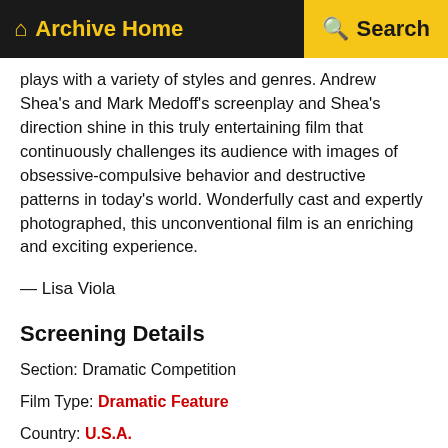Archive Home  Search
plays with a variety of styles and genres. Andrew Shea's and Mark Medoff's screenplay and Shea's direction shine in this truly entertaining film that continuously challenges its audience with images of obsessive-compulsive behavior and destructive patterns in today's world. Wonderfully cast and expertly photographed, this unconventional film is an enriching and exciting experience.
— Lisa Viola
Screening Details
Section: Dramatic Competition
Film Type: Dramatic Feature
Country: U.S.A.